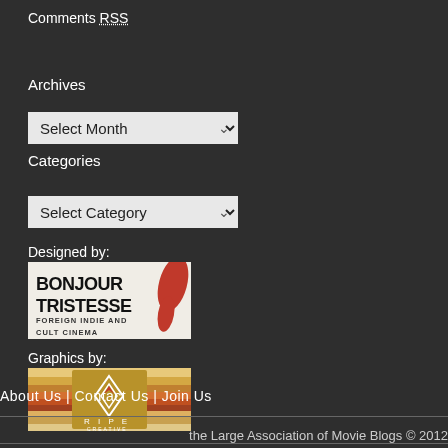Comments RSS
Archives
Select Month
Categories
Select Category
Designed by:
[Figure (logo): Bonjour Tristesse - Foreign Indie and Cult Cinema banner logo with red teardrop shape on right]
Graphics by:
[Figure (logo): Ripe Creative logo with colorful striped background and diamond icon]
About Us | Contact Us | Join Us
the Large Association of Movie Blogs © 2012